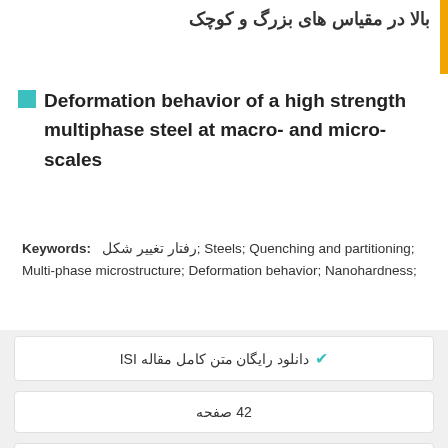بالا در مقیاس های بزرگ و کوچک
Deformation behavior of a high strength multiphase steel at macro- and micro-scales
Keywords: رفتار تغییر شکل; Steels; Quenching and partitioning; Multi-phase microstructure; Deformation behavior; Nanohardness;
دانلود رایگان متن کامل مقاله ISI
42 صفحه
سال انتشار : 2014